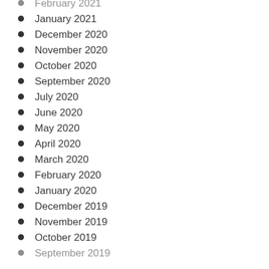February 2021
January 2021
December 2020
November 2020
October 2020
September 2020
July 2020
June 2020
May 2020
April 2020
March 2020
February 2020
January 2020
December 2019
November 2019
October 2019
September 2019